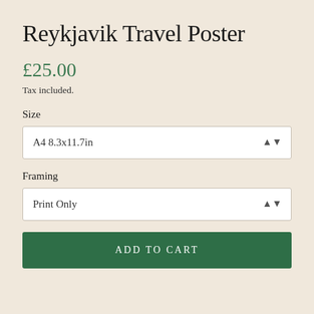Reykjavik Travel Poster
£25.00
Tax included.
Size
A4 8.3x11.7in
Framing
Print Only
ADD TO CART